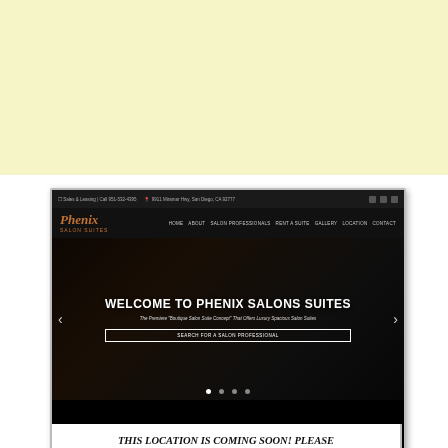[Figure (screenshot): Screenshot of Phenix Salon Suites website showing the homepage with navigation bar, hero image with two salon professionals (man and woman), headline 'WELCOME TO PHENIX SALONS SUITES', subtitle 'The Premiere Boutique Salon Suite Concept That Offers Luxury Spacious Salon Suites', and a 'SEARCH FOR A SALON PROFESSIONAL' button]
THIS LOCATION IS COMING SOON! PLEASE CONTACT US TODAY TO PRE-LEASE YOUR SUITE — 951.532.4395